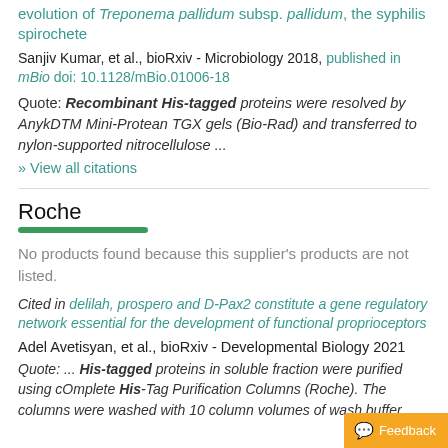evolution of Treponema pallidum subsp. pallidum, the syphilis spirochete
Sanjiv Kumar, et al., bioRxiv - Microbiology 2018, published in mBio doi: 10.1128/mBio.01006-18
Quote: Recombinant His-tagged proteins were resolved by AnykDTM Mini-Protean TGX gels (Bio-Rad) and transferred to nylon-supported nitrocellulose ...
» View all citations
Roche
No products found because this supplier's products are not listed.
Cited in delilah, prospero and D-Pax2 constitute a gene regulatory network essential for the development of functional proprioceptors
Adel Avetisyan, et al., bioRxiv - Developmental Biology 2021
Quote: ... His-tagged proteins in soluble fraction were purified using cOmplete His-Tag Purification Columns (Roche). The columns were washed with 10 column volumes of wash buffer...